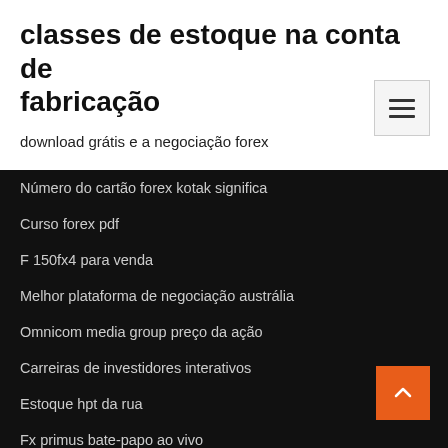classes de estoque na conta de fabricação
download grátis e a negociação forex
Número do cartão forex kotak significa
Curso forex pdf
F 150fx4 para venda
Melhor plataforma de negociação austrália
Omnicom media group preço da ação
Carreiras de investidores interativos
Estoque hpt da rua
Fx primus bate-papo ao vivo